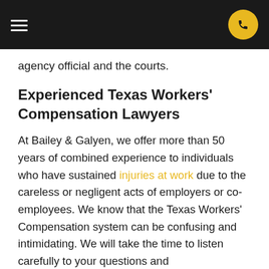≡  [phone icon]
agency official and the courts.
Experienced Texas Workers' Compensation Lawyers
At Bailey & Galyen, we offer more than 50 years of combined experience to individuals who have sustained injuries at work due to the careless or negligent acts of employers or co-employees. We know that the Texas Workers' Compensation system can be confusing and intimidating. We will take the time to listen carefully to your questions and